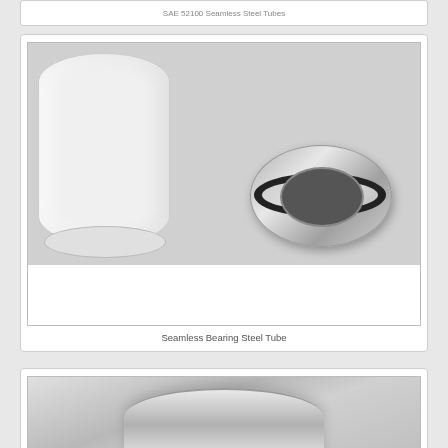SAE 52100 Seamless Steel Tubes
[Figure (photo): Photo of a white ceramic/plastic tube end and a polished stainless steel bearing ring (groove race) on a grey surface]
Seamless Bearing Steel Tube
[Figure (photo): Partial photo of a polished seamless steel tube end, showing mirror-finish surface]